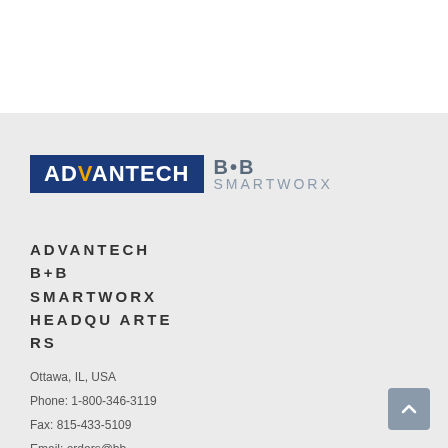[Figure (logo): Advantech B+B SmartWorx logo — blue rectangle with white ADVANTECH text on left, and B+B SmartWorx in gray on right]
ADVANTECH B+B SMARTWORX HEADQUARTERS
Ottawa, IL, USA
Phone: 1-800-346-3119
Fax: 815-433-5109
Email: orders@bb-elec.com